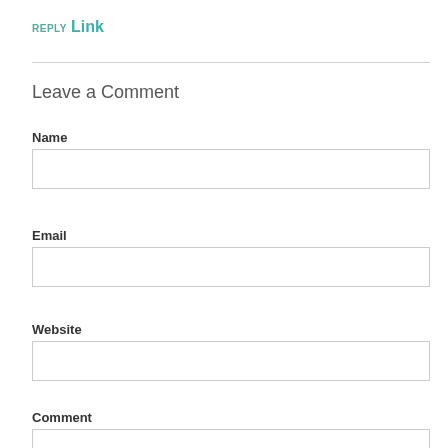REPLY Link
Leave a Comment
Name
Email
Website
Comment